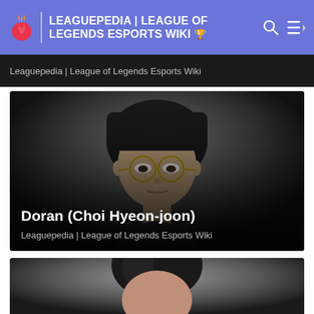LEAGUEPEDIA | LEAGUE OF LEGENDS ESPORTS WIKI
Leaguepedia | League of Legends Esports Wiki
[Figure (photo): Portrait photo of Doran (Choi Hyeon-joon), a Korean esports player wearing round glasses, with dark background fading to gray. Name overlay reads: Doran (Choi Hyeon-joon). Subtitle: Leaguepedia | League of Legends Esports Wiki]
[Figure (photo): Partial portrait photo of another person with dark hair, cut off at the bottom of the page.]